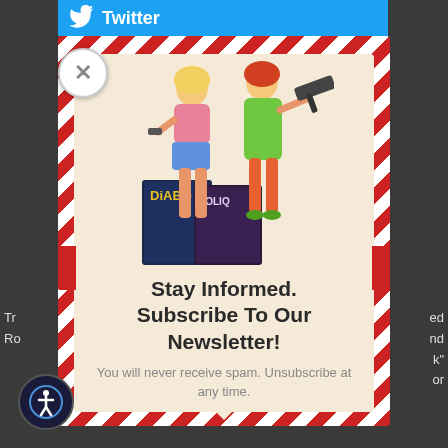Twitter
[Figure (illustration): Two illustrated women figures with weapons (one holding a pistol, one holding a submachine gun) standing over two comic/magazine covers reading 'DIABO' and 'BOLIQ']
Stay Informed. Subscribe To Our Newsletter!
You will never receive spam. Unsubscribe at any time.